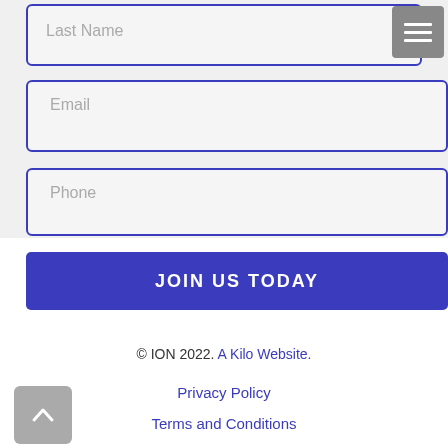Last Name
Email
Phone
JOIN US TODAY
© ION 2022. A Kilo Website.
Privacy Policy
Terms and Conditions